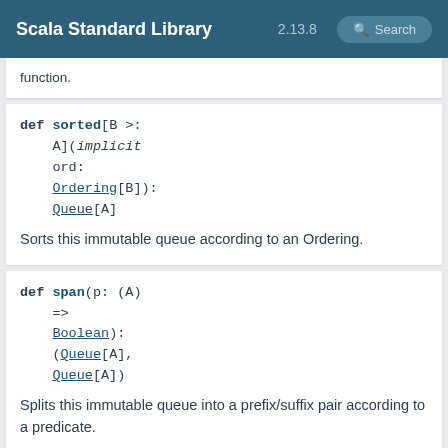Scala Standard Library 2.13.8 Search
function.
def sorted[B >: A](implicit ord: Ordering[B]): Queue[A]
Sorts this immutable queue according to an Ordering.
def span(p: (A) => Boolean): (Queue[A], Queue[A])
Splits this immutable queue into a prefix/suffix pair according to a predicate.